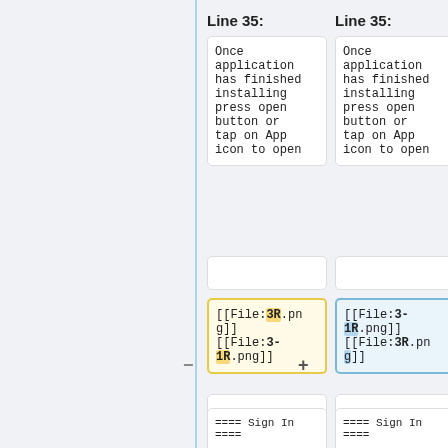Line 35:
Line 35:
Once application has finished installing press open button or tap on App icon to open
Once application has finished installing press open button or tap on App icon to open
[[File:3R.png]] [[File:3-1R.png]]
[[File:3-1R.png]] [[File:3R.png]]
==== Sign In ====
==== Sign In ====